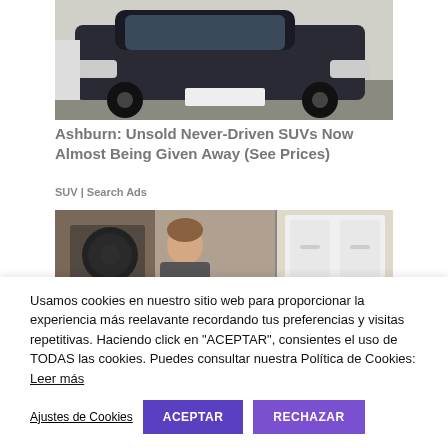[Figure (photo): Dark SUV (Land Rover / Range Rover style) photographed from the front, parked in a garage or driveway, black vehicle with license plate visible]
Ashburn: Unsold Never-Driven SUVs Now Almost Being Given Away (See Prices)
SUV | Search Ads
[Figure (photo): A man with short hair looking into a front-loading washing machine, with other appliances visible in the background]
Usamos cookies en nuestro sitio web para proporcionar la experiencia más reelavante recordando tus preferencias y visitas repetitivas. Haciendo click en "ACEPTAR", consientes el uso de TODAS las cookies. Puedes consultar nuestra Política de Cookies: Leer más
Ajustes de Cookies
ACEPTAR
RECHAZAR